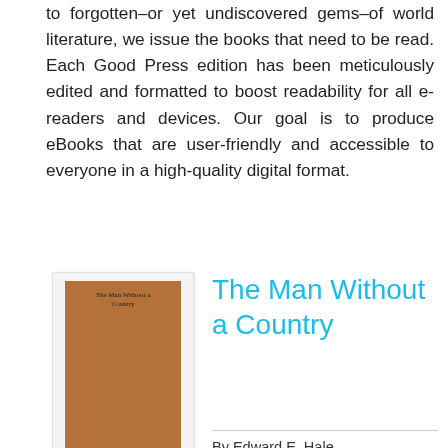to forgotten–or yet undiscovered gems–of world literature, we issue the books that need to be read. Each Good Press edition has been meticulously edited and formatted to boost readability for all e-readers and devices. Our goal is to produce eBooks that are user-friendly and accessible to everyone in a high-quality digital format.
The Man Without a Country
By Edward E. Hale
[Figure (illustration): Book cover thumbnail for 'The Man Without a Country' showing a brown/tan cover with small text]
[Figure (other): Green READ PDF button]
File : Pdf, ePub, Mobi, Kindle